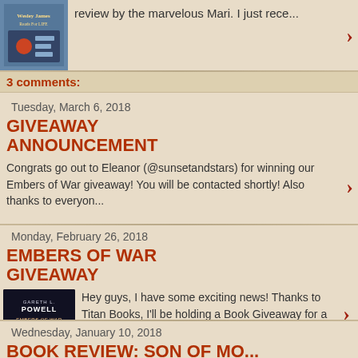review by the marvelous Mari. I just rece...
3 comments:
Tuesday, March 6, 2018
GIVEAWAY ANNOUNCEMENT
Congrats go out to Eleanor (@sunsetandstars) for winning our Embers of War giveaway! You will be contacted shortly! Also thanks to everyon...
Monday, February 26, 2018
EMBERS OF WAR GIVEAWAY
Hey guys, I have some exciting news! Thanks to Titan Books, I'll be holding a Book Giveaway for a new release of theirs. It's call...
Wednesday, January 10, 2018